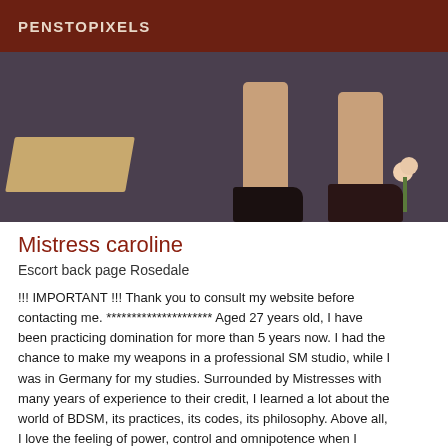PENSTOPIXELS
[Figure (photo): Close-up photo of a person's legs wearing black high heels, standing on a dark carpet with a wooden board and a rose visible on the floor.]
Mistress caroline
Escort back page Rosedale
!!! IMPORTANT !!! Thank you to consult my website before contacting me. ********************* Aged 27 years old, I have been practicing domination for more than 5 years now. I had the chance to make my weapons in a professional SM studio, while I was in Germany for my studies. Surrounded by Mistresses with many years of experience to their credit, I learned a lot about the world of BDSM, its practices, its codes, its philosophy. Above all, I love the feeling of power, control and omnipotence when I humiliate or torture a submissive. Knowing that